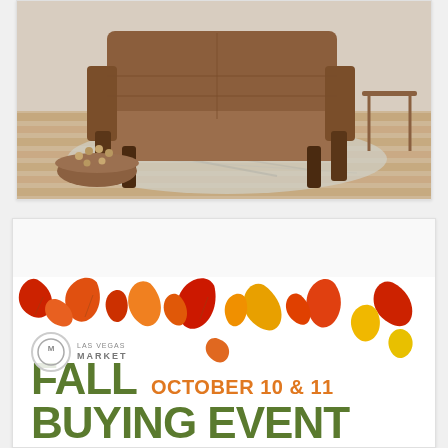[Figure (photo): Brown leather mid-century modern armchair on a patterned area rug with wooden side table visible, decorative bowl with beads in foreground]
[Figure (infographic): Las Vegas Market Fall Buying Event banner with autumn leaves decoration, Las Vegas Market logo, text reading FALL BUYING EVENT OCTOBER 10 & 11 in green and orange]